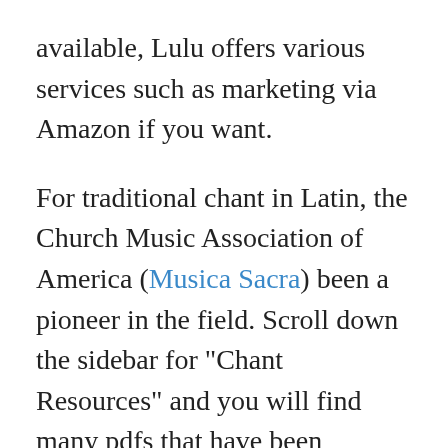available, Lulu offers various services such as marketing via Amazon if you want.
For traditional chant in Latin, the Church Music Association of America (Musica Sacra) been a pioneer in the field. Scroll down the sidebar for "Chant Resources" and you will find many pdfs that have been painstakingly prepared and cleaned up from old books. Again, you can purchase printed copies from the Lulu store of CMAA and they have an Amazon shop as well.
I have heard of other projects in